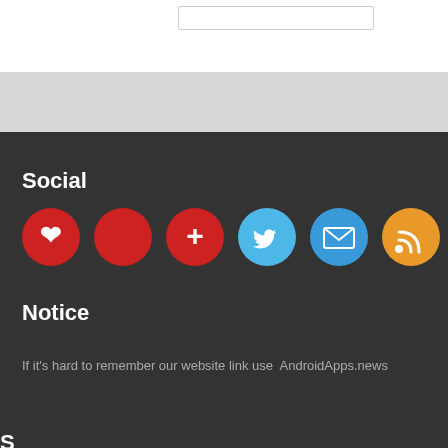Social
[Figure (infographic): Four social media icon circles: Pinterest (red), Twitter (light blue), Email (blue), RSS (orange)]
Notice
If it's hard to remember our website link use  AndroidApps.news
S... will dis... and Email Subscri...